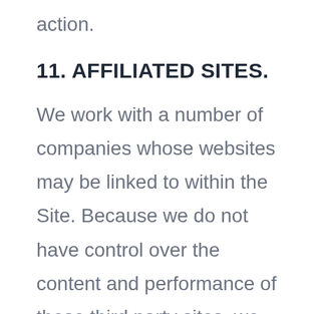action.
11. AFFILIATED SITES.
We work with a number of companies whose websites may be linked to within the Site. Because we do not have control over the content and performance of these third party sites, we make no promises or guarantees about the accuracy, content, or quality of the information provided by such sites,